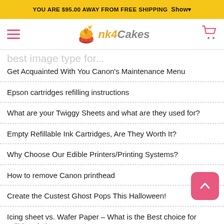YOU ARE $95.00 AWAY FROM FREE SHIPPING Show
[Figure (logo): Ink4Cakes logo with cupcake icon]
best image type for...
Get Acquainted With You Canon's Maintenance Menu
Epson cartridges refilling instructions
What are your Twiggy Sheets and what are they used for?
Empty Refillable Ink Cartridges, Are They Worth It?
Why Choose Our Edible Printers/Printing Systems?
How to remove Canon printhead
Create the Custest Ghost Pops This Halloween!
Icing sheet vs. Wafer Paper – What is the Best choice for Edible Printing?